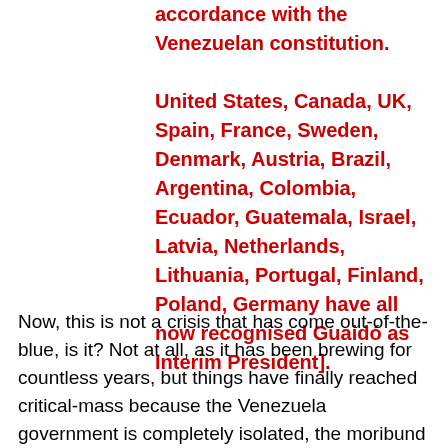accordance with the Venezuelan constitution.

United States, Canada, UK, Spain, France, Sweden, Denmark, Austria, Brazil, Argentina, Colombia, Ecuador, Guatemala, Israel, Latvia, Netherlands, Lithuania, Portugal, Finland, Poland, Germany have all now recognised Guaidó as Interim President].
Now, this is not a crisis that has come out-of-the-blue, is it? Not at all, as it has been brewing for countless years, but things have finally reached critical-mass because the Venezuela government is completely isolated, the moribund economy has ruinously crashed, the community largely is poverty-stricken, there is no food, the health